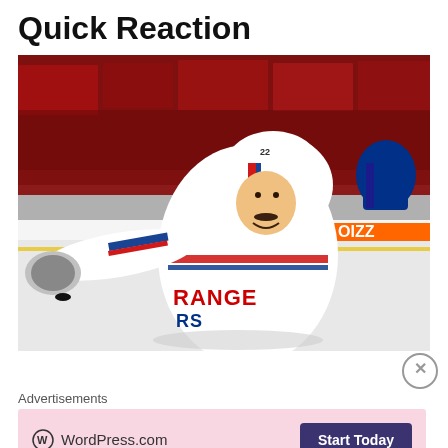Quick Reaction
[Figure (photo): A New York Rangers hockey player wearing number 22 in a white Rangers jersey celebrating on the ice, arms outstretched, with a crowd of spectators in red in the background. An advertisement for 'OIZZ' (partial) is visible on the boards.]
Advertisements
[Figure (screenshot): WordPress.com advertisement banner with pink background showing WordPress.com logo on the left and a 'Start Today' dark purple button on the right.]